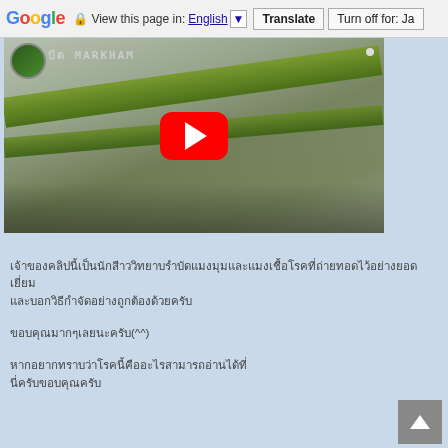Google  View this page in: English [▼]  Translate  Turn off for: Ja
[Figure (screenshot): YouTube video thumbnail showing a close-up nature photo of insects on a green plant stem/branch, with a red YouTube play button overlay in the center. A circular user avatar and channel name appear in the top-left corner.]
Thai language text block (two lines of Thai script)
Thai language text with smiley face: (^^)
Thai language text block (two lines of Thai script)